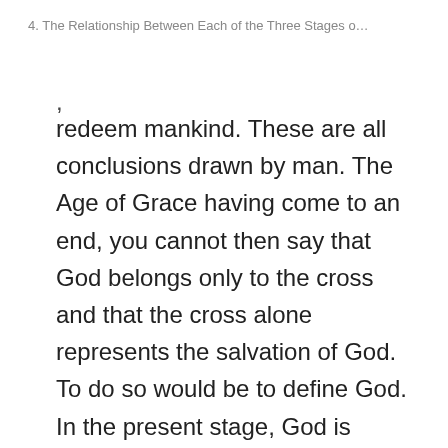4. The Relationship Between Each of the Three Stages o…
, redeem mankind. These are all conclusions drawn by man. The Age of Grace having come to an end, you cannot then say that God belongs only to the cross and that the cross alone represents the salvation of God. To do so would be to define God. In the present stage, God is mainly doing the work of the word, but you cannot say then that God has never been merciful to man and that all He has brought is chastisement and judgment. The work in the last days lays bare the work of Jehovah and Jesus and all mysteries not understood by man, so as to reveal the destination and the end of mankind